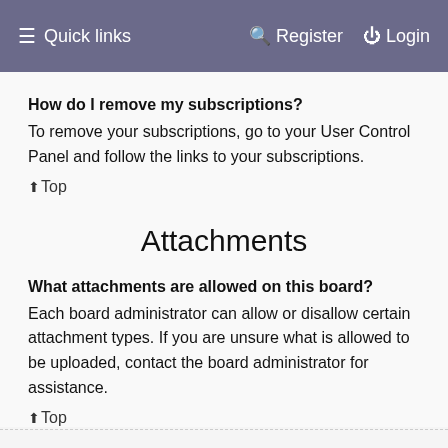≡ Quick links    Register   Login
How do I remove my subscriptions?
To remove your subscriptions, go to your User Control Panel and follow the links to your subscriptions.
↑Top
Attachments
What attachments are allowed on this board?
Each board administrator can allow or disallow certain attachment types. If you are unsure what is allowed to be uploaded, contact the board administrator for assistance.
↑Top